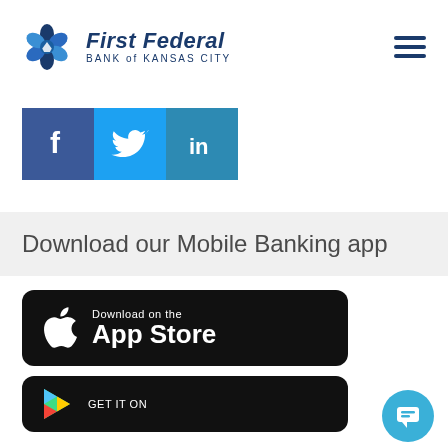[Figure (logo): First Federal Bank of Kansas City logo with blue geometric snowflake icon and bold italic text]
[Figure (infographic): Three social media icons: Facebook (dark blue), Twitter (light blue), LinkedIn (blue)]
Download our Mobile Banking app
[Figure (screenshot): Download on the App Store button (black rounded rectangle with Apple logo)]
[Figure (screenshot): GET IT ON Google Play button (black rounded rectangle with Google Play triangle icon)]